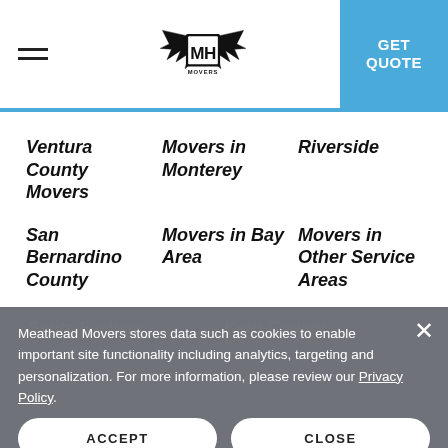MH Movers — GET QUOTE
Ventura County Movers
Movers in Monterey
Riverside
San Bernardino County
Movers in Bay Area
Movers in Other Service Areas
Meathead Movers stores data such as cookies to enable important site functionality including analytics, targeting and personalization. For more information, please review our Privacy Policy.
ACCEPT  CLOSE